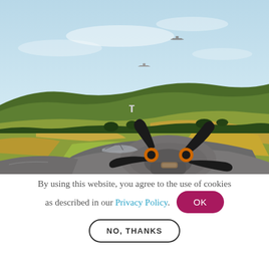[Figure (illustration): Illustrated wartime scene: a WWII-era aircraft in the foreground with two large black propellers and an orange tip, viewed from the cockpit/nose perspective. Rolling English countryside with green and yellow fields, hedgerows, and trees in the background. Two small aircraft silhouettes visible in a pale blue sky with soft clouds.]
By using this website, you agree to the use of cookies as described in our Privacy Policy.
OK
NO, THANKS